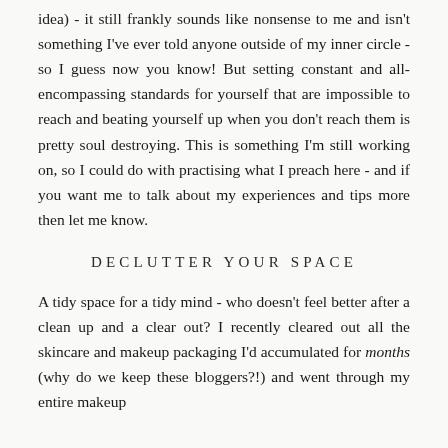idea) - it still frankly sounds like nonsense to me and isn't something I've ever told anyone outside of my inner circle - so I guess now you know! But setting constant and all-encompassing standards for yourself that are impossible to reach and beating yourself up when you don't reach them is pretty soul destroying. This is something I'm still working on, so I could do with practising what I preach here - and if you want me to talk about my experiences and tips more then let me know.
DECLUTTER YOUR SPACE
A tidy space for a tidy mind - who doesn't feel better after a clean up and a clear out? I recently cleared out all the skincare and makeup packaging I'd accumulated for months (why do we keep these bloggers?!) and went through my entire makeup